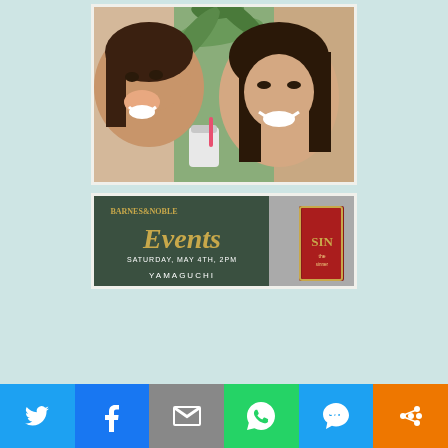[Figure (photo): Two women smiling and taking a selfie together indoors, with palm plant in background. One woman on left is closer to camera.]
[Figure (photo): Barnes & Noble Events sign reading 'SATURDAY, MAY 4TH, 2PM' with partial text of a name below, alongside books including one titled 'SIN'.]
[Figure (infographic): Social sharing bar at bottom with icons for Twitter, Facebook, Email, WhatsApp, SMS, and More (share).]